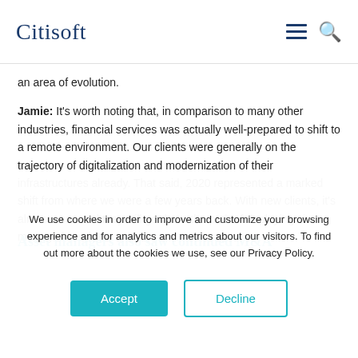Citisoft
an area of evolution.
Jamie: It's worth noting that, in comparison to many other industries, financial services was actually well-prepared to shift to a remote environment. Our clients were generally on the trajectory of digitalization and modernization of their infrastructures already. That said, 2020 represented a marked shift from where we were a few years back. With new clients, it's almost assumed they will go down the path of deploying via managed services.
Asset managers also saw continued M&A
We use cookies in order to improve and customize your browsing experience and for analytics and metrics about our visitors. To find out more about the cookies we use, see our Privacy Policy.